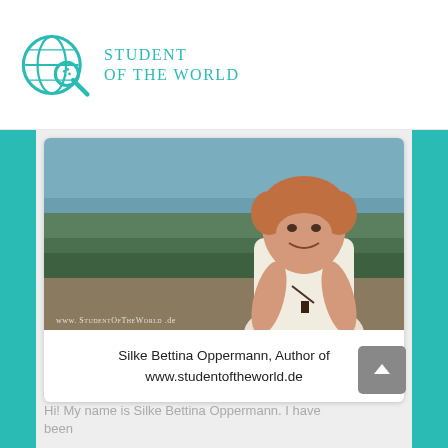Student of the World
[Figure (logo): Student of the World logo with globe and magnifying glass icon in teal, with text 'Student of the World' in teal uppercase letters]
[Figure (photo): Photo of Silke Bettina Oppermann smiling outdoors with a scenic landscape in the background, golden hour lighting. Watermark reads 'www.StudentOfTheWorld.de']
Silke Bettina Oppermann, Author of www.studentoftheworld.de
Hi! My name is Silke Bettina Oppermann. I have been